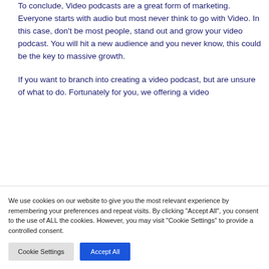To conclude, Video podcasts are a great form of marketing. Everyone starts with audio but most never think to go with Video. In this case, don't be most people, stand out and grow your video podcast. You will hit a new audience and you never know, this could be the key to massive growth.
If you want to branch into creating a video podcast, but are unsure of what to do. Fortunately for you, we offering a video
We use cookies on our website to give you the most relevant experience by remembering your preferences and repeat visits. By clicking "Accept All", you consent to the use of ALL the cookies. However, you may visit "Cookie Settings" to provide a controlled consent.